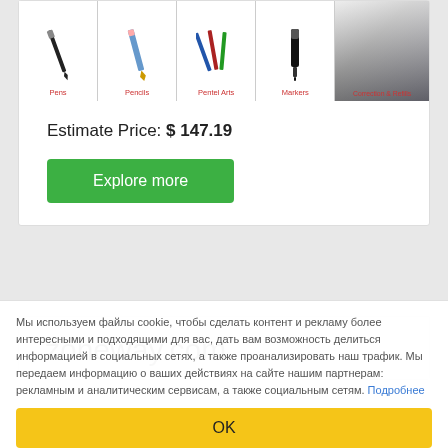[Figure (screenshot): Product category image strip showing pens, pencils, Pentel Arts, Markers, Correction & Refills with small red category labels]
Estimate Price: $ 147.19
Explore more
zoneway.com
Мы используем файлы cookie, чтобы сделать контент и рекламу более интересными и подходящими для вас, дать вам возможность делиться информацией в социальных сетях, а также проанализировать наш трафик. Мы передаем информацию о ваших действиях на сайте нашим партнерам: рекламным и аналитическим сервисам, а также социальным сетям. Подробнее
OK